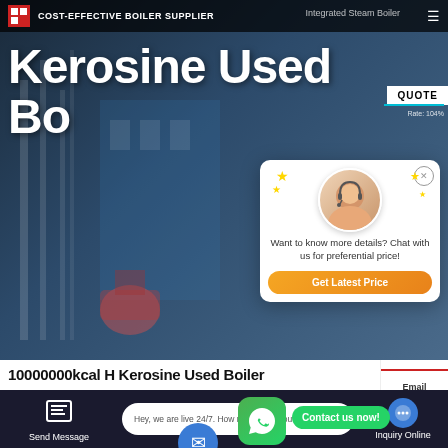COST-EFFECTIVE BOILER SUPPLIER
Kerosine Used Boiler
[Figure (screenshot): Chat popup overlay with customer service representative avatar, stars decoration, text 'Want to know more details? Chat with us for preferential price!' and orange 'Get Latest Price' button]
10000000kcal H Kerosine Used Boiler
HOT NEWS
Contact us now!
Send Message | Hey, we are live 24/7. How may I help you? | Inquiry Online